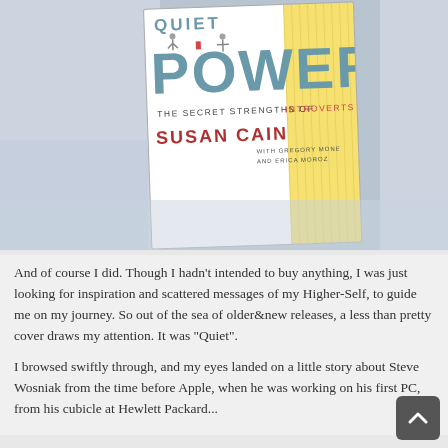[Figure (photo): Book cover photo of 'Quiet Power: The Secret Strengths of Introverts' by Susan Cain with Gregory Mone and Erica Moroz. The cover shows the word POWER in large teal letters with small illustrated figures on the letters, and a striped yellow and white background. The book is photographed at a slight angle on a light surface.]
And of course I did. Though I hadn't intended to buy anything, I was just looking for inspiration and scattered messages of my Higher-Self, to guide me on my journey. So out of the sea of older&new releases, a less than pretty cover draws my attention. It was "Quiet".
I browsed swiftly through, and my eyes landed on a little story about Steve Wosniak from the time before Apple, when he was working on his first PC, from his cubicle at Hewlett Packard...